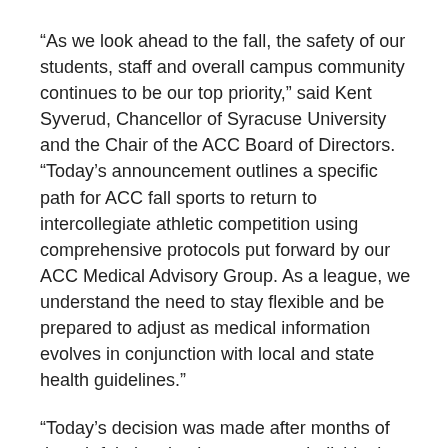“As we look ahead to the fall, the safety of our students, staff and overall campus community continues to be our top priority,” said Kent Syverud, Chancellor of Syracuse University and the Chair of the ACC Board of Directors. “Today’s announcement outlines a specific path for ACC fall sports to return to intercollegiate athletic competition using comprehensive protocols put forward by our ACC Medical Advisory Group. As a league, we understand the need to stay flexible and be prepared to adjust as medical information evolves in conjunction with local and state health guidelines.”
“Today’s decision was made after months of thoughtful planning by numerous individuals throughout the conference,” said ACC Commissioner John Swofford. “The Board’s decision presents a path, if public health guidance allows, to move forward with competition. Our institutions are committed to taking the necessary measures to facilitate the return in a safe and responsible manner. We recognize that we may need to be